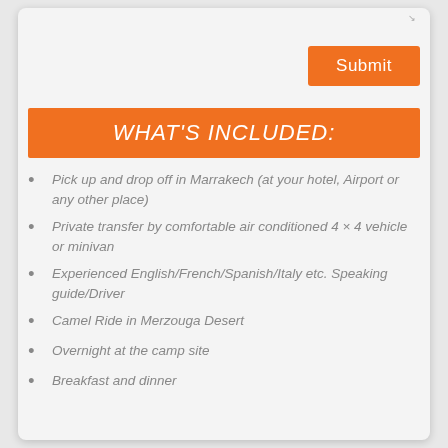[Figure (other): Submit button (orange rectangle with white text)]
WHAT'S INCLUDED:
Pick up and drop off in Marrakech (at your hotel, Airport or any other place)
Private transfer by comfortable air conditioned 4 × 4 vehicle or minivan
Experienced English/French/Spanish/Italy etc. Speaking guide/Driver
Camel Ride in Merzouga Desert
Overnight at the camp site
Breakfast and dinner